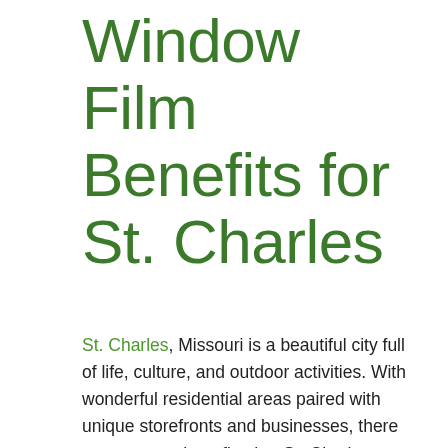Window Film Benefits for St. Charles
St. Charles, Missouri is a beautiful city full of life, culture, and outdoor activities. With wonderful residential areas paired with unique storefronts and businesses, there are so many benefits that St. Charles residents can take full